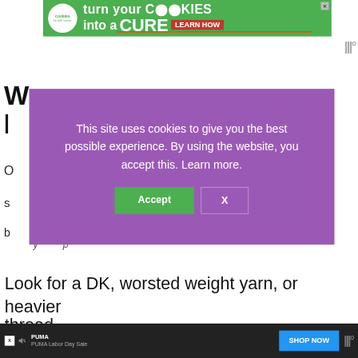[Figure (screenshot): Green banner advertisement for 'Cookies for Kids Cancer' — 'turn your cookies into a CURE LEARN HOW']
[Figure (screenshot): Cookie consent modal overlay with purple background: 'This site uses cookies to give you the best possible experience. By using the website, you accept this. Learn more.' with Accept and X buttons]
Look for a DK, worsted weight yarn, or heavier thread
[Figure (screenshot): Bottom advertisement bar: PUMA Labor Day Sale — SHOP NOW button]